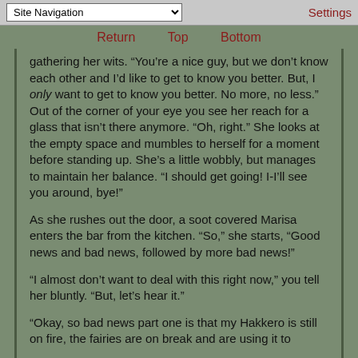Site Navigation | Settings
Return   Top   Bottom
gathering her wits. “You’re a nice guy, but we don’t know each other and I’d like to get to know you better. But, I only want to get to know you better. No more, no less.” Out of the corner of your eye you see her reach for a glass that isn’t there anymore. “Oh, right.” She looks at the empty space and mumbles to herself for a moment before standing up. She’s a little wobbly, but manages to maintain her balance. “I should get going! I-I’ll see you around, bye!”
As she rushes out the door, a soot covered Marisa enters the bar from the kitchen. “So,” she starts, “Good news and bad news, followed by more bad news!”
“I almost don’t want to deal with this right now,” you tell her bluntly. “But, let’s hear it.”
“Okay, so bad news part one is that my Hakkero is still on fire, the fairies are on break and are using it to